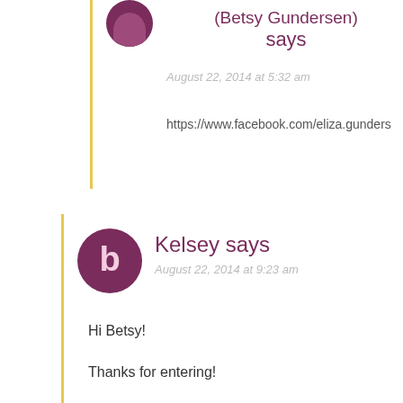(Betsy Gundersen) says
August 22, 2014 at 5:32 am
https://www.facebook.com/eliza.gunders
Kelsey says
August 22, 2014 at 9:23 am
Hi Betsy!

Thanks for entering!

-Kelsey with Bramble Berry